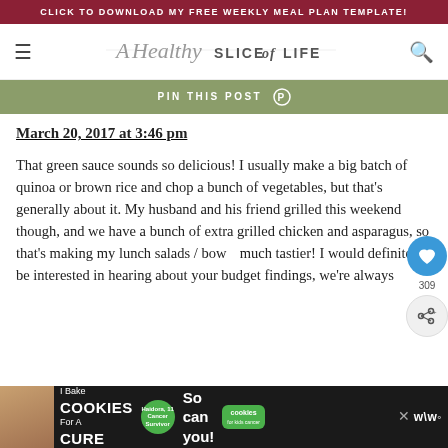CLICK TO DOWNLOAD MY FREE WEEKLY MEAL PLAN TEMPLATE!
[Figure (logo): A Healthy Slice of Life blog logo with script and sans-serif text]
PIN THIS POST
March 20, 2017 at 3:46 pm
That green sauce sounds so delicious! I usually make a big batch of quinoa or brown rice and chop a bunch of vegetables, but that's generally about it. My husband and his friend grilled this weekend though, and we have a bunch of extra grilled chicken and asparagus, so that's making my lunch salads / bowls much tastier! I would definitely be interested in hearing about your budget findings, we're always try
[Figure (infographic): I Bake COOKIES For A CURE advertisement banner with green cookies logo and child photo]